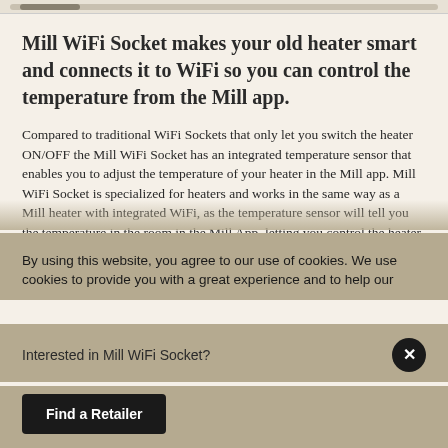Mill WiFi Socket makes your old heater smart and connects it to WiFi so you can control the temperature from the Mill app.
Compared to traditional WiFi Sockets that only let you switch the heater ON/OFF the Mill WiFi Socket has an integrated temperature sensor that enables you to adjust the temperature of your heater in the Mill app. Mill WiFi Socket is specialized for heaters and works in the same way as a Mill heater with integrated WiFi, as the temperature sensor will tell you the temperature in the room in the Mill App, letting you control the heater from anywhere. And best of all, by using the socket on...
By using this website, you agree to our use of cookies. We use cookies to provide you with a great experience and to help our
Interested in Mill WiFi Socket?
Find a Retailer